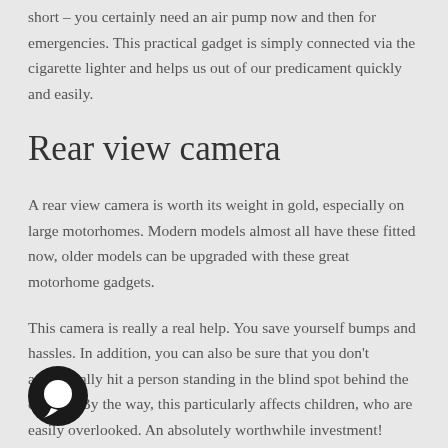short – you certainly need an air pump now and then for emergencies. This practical gadget is simply connected via the cigarette lighter and helps us out of our predicament quickly and easily.
Rear view camera
A rear view camera is worth its weight in gold, especially on large motorhomes. Modern models almost all have these fitted now, older models can be upgraded with these great motorhome gadgets.
This camera is really a real help. You save yourself bumps and hassles. In addition, you can also be sure that you don't accidentally hit a person standing in the blind spot behind the camper. By the way, this particularly affects children, who are easily overlooked. An absolutely worthwhile investment!
[Figure (illustration): Chat/message bubble icon — dark circular icon with white speech bubble]
Battery Power Pack Jump Start